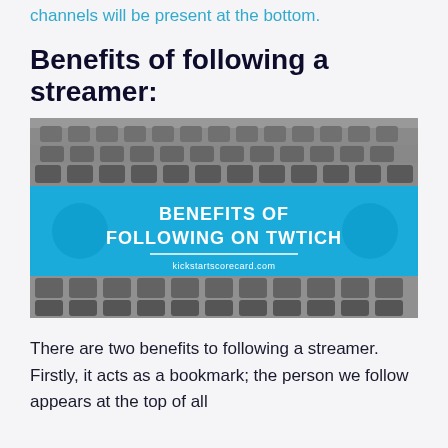channels will be present at the bottom.
Benefits of following a streamer:
[Figure (infographic): Infographic image with a grayscale background of auditorium seats. A bright blue band in the middle contains white bold text reading 'BENEFITS OF FOLLOWING ON TWTICH' with a white horizontal line and subtitle 'kickstartscorecard.com'.]
There are two benefits to following a streamer. Firstly, it acts as a bookmark; the person we follow appears at the top of all